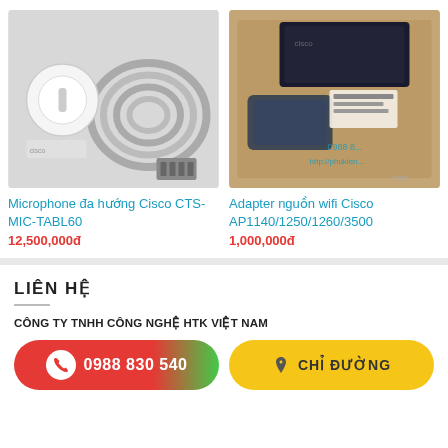[Figure (photo): Product photo of Cisco CTS-MIC-TABL60 multidirectional microphone with cable, white device on gray background]
[Figure (photo): Product photo of Cisco wifi adapter AP1140/1250/1260/3500 power adapter in cardboard box with accessories]
Microphone đa hướng Cisco CTS-MIC-TABL60
Adapter nguồn wifi Cisco AP1140/1250/1260/3500
12,500,000đ
1,000,000đ
LIÊN HỆ
CÔNG TY TNHH CÔNG NGHỆ HTK VIỆT NAM
0988 830 540
CHỈ ĐƯỜNG